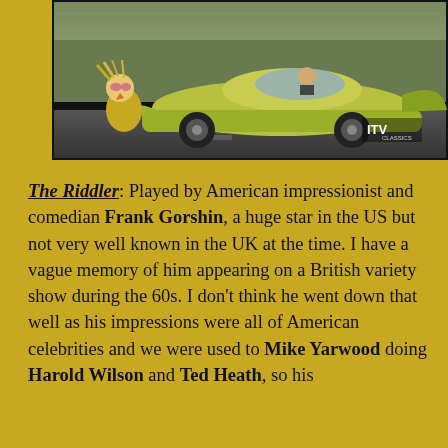[Figure (photo): A yellow-green custom concept car on a road, with what appears to be a costumed puppet or figure attached to the front left side. A person is visible in the driver seat. A TV network logo watermark is visible in the lower right corner of the image.]
The Riddler: Played by American impressionist and comedian Frank Gorshin, a huge star in the US but not very well known in the UK at the time. I have a vague memory of him appearing on a British variety show during the 60s. I don't think he went down that well as his impressions were all of American celebrities and we were used to Mike Yarwood doing Harold Wilson and Ted Heath, so his